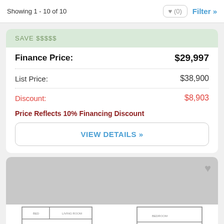Showing 1 - 10 of 10
SAVE $$$$$
|  |  |
| --- | --- |
| Finance Price: | $29,997 |
| List Price: | $38,900 |
| Discount: | $8,903 |
Price Reflects 10% Financing Discount
VIEW DETAILS »
[Figure (illustration): Floor plan schematic at bottom of page, partially visible]